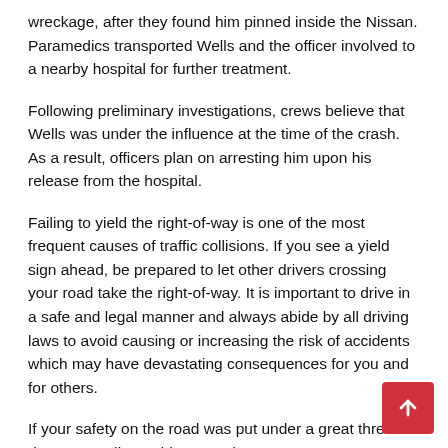wreckage, after they found him pinned inside the Nissan. Paramedics transported Wells and the officer involved to a nearby hospital for further treatment.
Following preliminary investigations, crews believe that Wells was under the influence at the time of the crash. As a result, officers plan on arresting him upon his release from the hospital.
Failing to yield the right-of-way is one of the most frequent causes of traffic collisions. If you see a yield sign ahead, be prepared to let other drivers crossing your road take the right-of-way. It is important to drive in a safe and legal manner and always abide by all driving laws to avoid causing or increasing the risk of accidents which may have devastating consequences for you and for others.
If your safety on the road was put under a great threat due to a negligent driver, reach out to Sweet, James